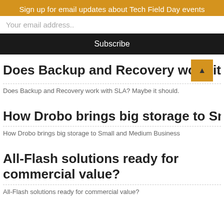Sign up for email updates about Tech Field Day events
Your email address..
Subscribe
Does Backup and Recovery work with SLA? Maybe it should.
Does Backup and Recovery work with SLA? Maybe it should.
How Drobo brings big storage to Small and Medium Business
How Drobo brings big storage to Small and Medium Business
All-Flash solutions ready for commercial value?
All-Flash solutions ready for commercial value?